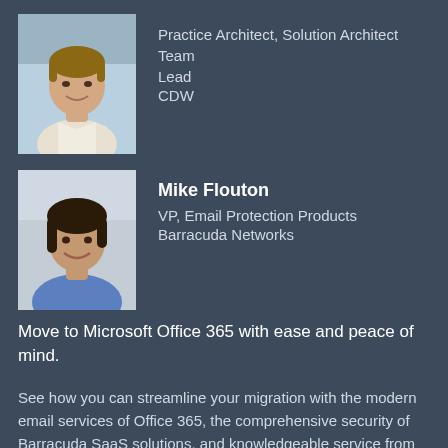[Figure (photo): Headshot of a man wearing a white shirt, smiling, with a light blue background]
Practice Architect, Solution Architect Team Lead
CDW
[Figure (photo): Headshot of Mike Flouton with dark hair, smiling, wearing a blue shirt]
Mike Flouton
VP, Email Protection Products
Barracuda Networks
Move to Microsoft Office 365 with ease and peace of mind.
See how you can streamline your migration with the modern email services of Office 365, the comprehensive security of Barracuda SaaS solutions, and knowledgeable service from CDW.
Don't miss this webinar about taking advantage of all the